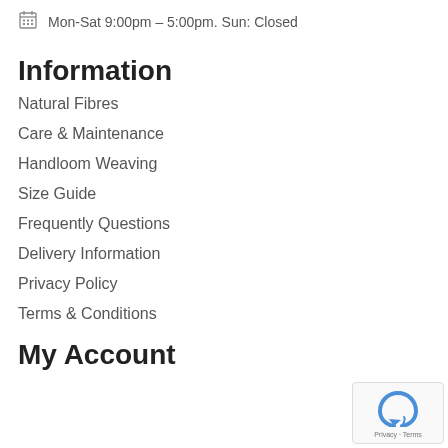Mon-Sat 9:00pm – 5:00pm. Sun: Closed
Information
Natural Fibres
Care & Maintenance
Handloom Weaving
Size Guide
Frequently Questions
Delivery Information
Privacy Policy
Terms & Conditions
My Account